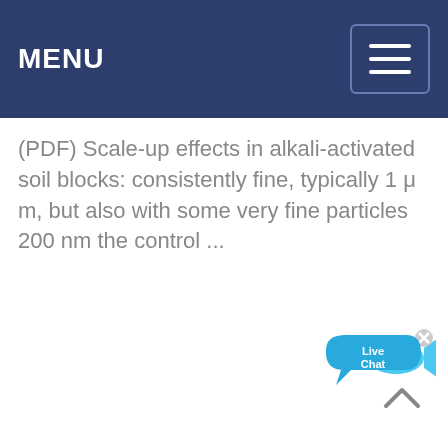MENU
(PDF) Scale-up effects in alkali-activated soil blocks: consistently fine, typically 1 μ m, but also with some very fine particles 200 nm the control ...
[Figure (illustration): Live Chat bubble icon with a small fish icon and a close (x) button in the top right corner]
[Figure (other): Back to top chevron/arrow icon]